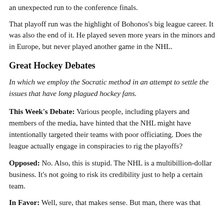an unexpected run to the conference finals.
That playoff run was the highlight of Bohonos's big league career. It was also the end of it. He played seven more years in the minors and in Europe, but never played another game in the NHL.
Great Hockey Debates
In which we employ the Socratic method in an attempt to settle the issues that have long plagued hockey fans.
This Week's Debate: Various people, including players and members of the media, have hinted that the NHL might have intentionally targeted their teams with poor officiating. Does the league actually engage in conspiracies to rig the playoffs?
Opposed: No. Also, this is stupid. The NHL is a multibillion-dollar business. It's not going to risk its credibility just to help a certain team.
In Favor: Well, sure, that makes sense. But man, there was that